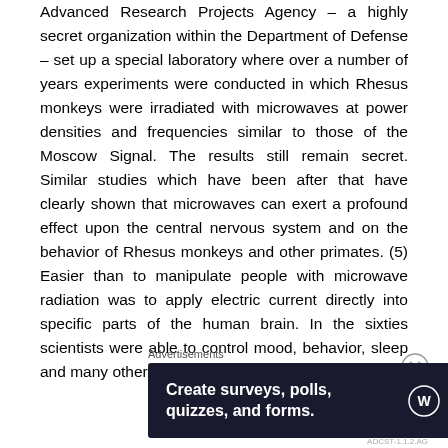Advanced Research Projects Agency – a highly secret organization within the Department of Defense – set up a special laboratory where over a number of years experiments were conducted in which Rhesus monkeys were irradiated with microwaves at power densities and frequencies similar to those of the Moscow Signal. The results still remain secret. Similar studies which have been after that have clearly shown that microwaves can exert a profound effect upon the central nervous system and on the behavior of Rhesus monkeys and other primates. (5) Easier than to manipulate people with microwave radiation was to apply electric current directly into specific parts of the human brain. In the sixties scientists were able to control mood, behavior, sleep and many other functions o
Advertisements
[Figure (screenshot): Advertisement banner with dark navy background reading 'Create surveys, polls, quizzes, and forms.' with WordPress and SurveyMonkey-style logos on the right.]